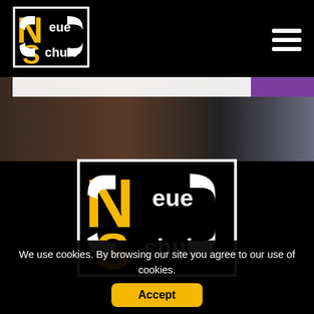[Figure (logo): Neue Schule NS logo - small top left in nav bar]
[Figure (photo): Partial horse photo strip with white bar and purple block overlay]
[Figure (logo): Neue Schule NS logo - large centered in middle section]
[Figure (screenshot): Social media icons strip (Twitter, Facebook) in dark bar]
We use cookies. By browsing our site you agree to our use of cookies.
Accept